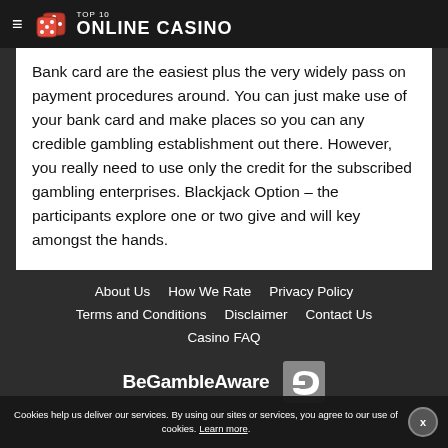TOP 10 ONLINE CASINO
Bank card are the easiest plus the very widely pass on payment procedures around. You can just make use of your bank card and make places so you can any credible gambling establishment out there. However, you really need to use only the credit for the subscribed gambling enterprises. Blackjack Option – the participants explore one or two give and will key amongst the hands.
About Us | How We Rate | Privacy Policy | Terms and Conditions | Disclaimer | Contact Us | Casino FAQ
[Figure (logo): BeGambleAware logo and GamCare icon]
Cookies help us deliver our services. By using our sites or services, you agree to our use of cookies. Learn more.